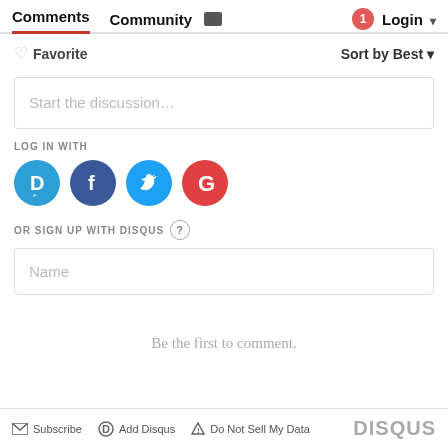Comments   Community   Login
Favorite   Sort by Best
Start the discussion…
LOG IN WITH
[Figure (logo): Social login icons: Disqus (blue circle D), Facebook (dark blue circle f), Twitter (light blue circle bird), Google (red circle G)]
OR SIGN UP WITH DISQUS ?
Name
Be the first to comment.
Subscribe   Add Disqus   Do Not Sell My Data   DISQUS